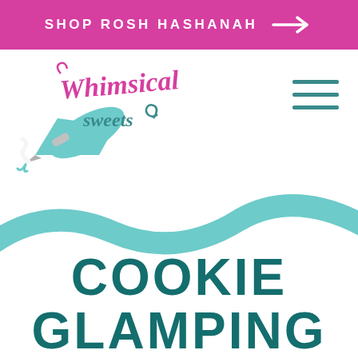SHOP ROSH HASHANAH →
[Figure (logo): Whimsical Sweets logo with a teal piping bag and pink/purple script text reading 'Whimsical sweets' with a swirl]
[Figure (illustration): Teal/mint wavy ribbon or wave decoration]
COOKIE GLAMPING